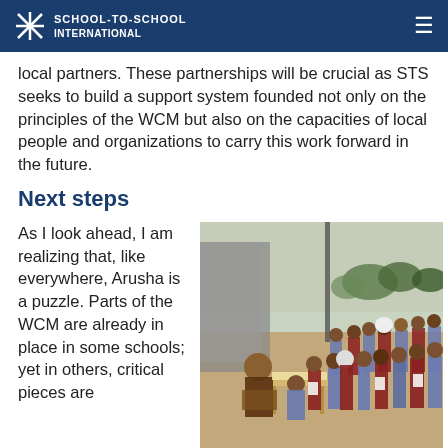School-to-School International
local partners. These partnerships will be crucial as STS seeks to build a support system founded not only on the principles of the WCM but also on the capacities of local people and organizations to carry this work forward in the future.
Next steps
As I look ahead, I am realizing that, like everywhere, Arusha is a puzzle. Parts of the WCM are already in place in some schools; yet in others, critical pieces are
[Figure (photo): A teacher sits at a desk outdoors while a large group of schoolchildren in uniforms stand in lines in a dusty open area, holding papers.]